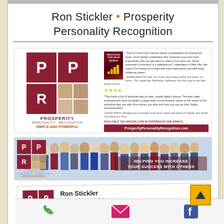Ron Stickler · Prosperity Personality Recognition
[Figure (illustration): Book advertisement for Prosperity Personality Recognition showing PPR logo, book cover of 'Revolution Your Sales Goals', testimonials, and website button ProsperityPersonalityRecognition.com]
[Figure (illustration): Banner image showing PPR logo with group of business people and text 'HELPING YOU INCREASE YOUR SUCCESS WITH OTHERS']
[Figure (illustration): Business card for Ron Stickler, President - Founder - Author, (970) 631-0188, Ron@ProsperityPersonalityRecognition.com, 5239 Country Squire Way, Fort Collins, Colorado 80528, ProsperityPersonalityRecognition.com]
Phone | Email | Facebook icons